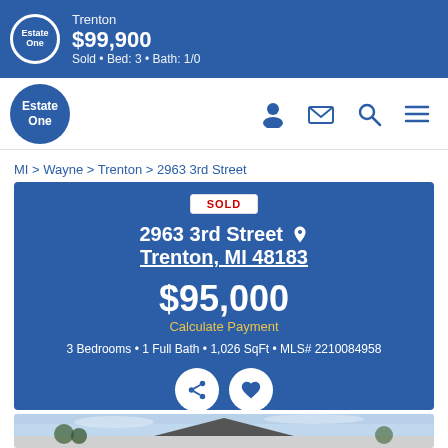Trenton
$99,900
Sold • Bed: 3 • Bath: 1/0
[Figure (logo): Estate One real estate logo, circular blue badge with white text]
MI > Wayne > Trenton > 2963 3rd Street
SOLD
2963 3rd Street
Trenton, MI 48183
$95,000
Calculate Payment
3 Bedrooms • 1 Full Bath • 1,026 SqFt • MLS# 2210084958
[Figure (photo): Exterior photo of a house with blue sky background, showing rooftop and trees]